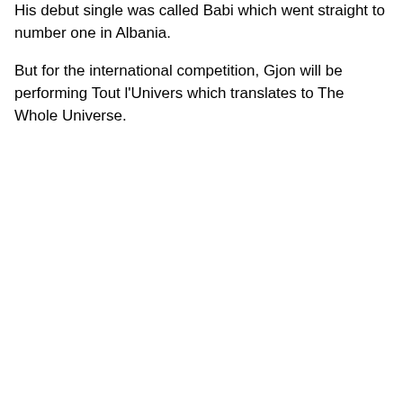His debut single was called Babi which went straight to number one in Albania.
But for the international competition, Gjon will be performing Tout l'Univers which translates to The Whole Universe.